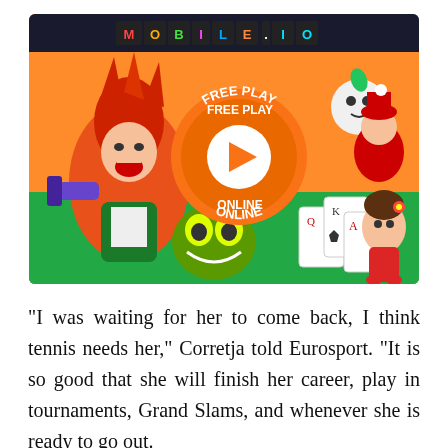[Figure (illustration): Mobile.io gaming website banner showing cartoon game characters including an anime fighter, a monster, a soccer player child, card game elements, cute kawaii characters, a large orange 'FREE PLAY ONLINE' circle button with play icon in center, and 'MOBILE.IO' logo at top on dark background.]
“I was waiting for her to come back, I think tennis needs her,” Corretja told Eurosport. “It is so good that she will finish her career, play in tournaments, Grand Slams, and whenever she is ready to go out.
“I am very pleased that she is going to be at Wimbledon. She is going to be very dangerous for the